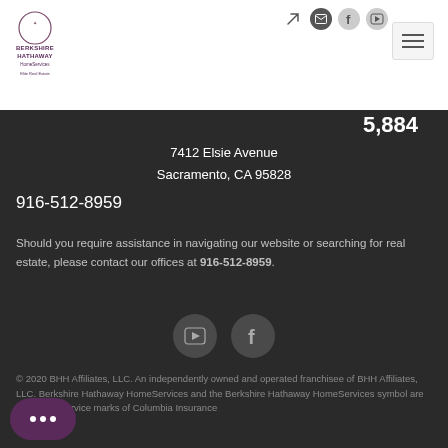[Figure (logo): Berkshire Hathaway HomeServices Elite Real Estate logo with circular emblem]
7412 Elsie Avenue
Sacramento, CA 95828
916-512-8959
Should you require assistance in navigating our website or searching for real estate, please contact our offices at 916-512-8959.
[Figure (other): Social media icons: YouTube and Facebook]
© 2020 BHH Affiliates, LLC. An independently owned and operated franchisee of BHH Affiliates, LLC. Berkshire Hathaway HomeServices and the Berkshire Hathaway HomeServices symbol are registered service marks of Columbia Insurance